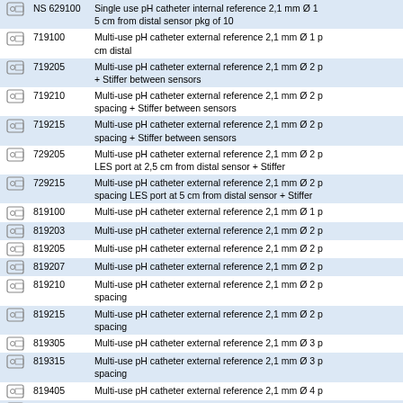|  | Code | Description |
| --- | --- | --- |
|  | NS 629100 | Single use pH catheter internal reference 2,1 mm Ø 1 5 cm from distal sensor pkg of 10 |
|  | 719100 | Multi-use pH catheter external reference 2,1 mm Ø 1 p cm distal |
|  | 719205 | Multi-use pH catheter external reference 2,1 mm Ø 2 p + Stiffer between sensors |
|  | 719210 | Multi-use pH catheter external reference 2,1 mm Ø 2 p spacing + Stiffer between sensors |
|  | 719215 | Multi-use pH catheter external reference 2,1 mm Ø 2 p spacing + Stiffer between sensors |
|  | 729205 | Multi-use pH catheter external reference 2,1 mm Ø 2 p LES port at 2,5 cm from distal sensor + Stiffer |
|  | 729215 | Multi-use pH catheter external reference 2,1 mm Ø 2 p spacing LES port at 5 cm from distal sensor + Stiffer |
|  | 819100 | Multi-use pH catheter external reference 2,1 mm Ø 1 p |
|  | 819203 | Multi-use pH catheter external reference 2,1 mm Ø 2 p |
|  | 819205 | Multi-use pH catheter external reference 2,1 mm Ø 2 p |
|  | 819207 | Multi-use pH catheter external reference 2,1 mm Ø 2 p |
|  | 819210 | Multi-use pH catheter external reference 2,1 mm Ø 2 p spacing |
|  | 819215 | Multi-use pH catheter external reference 2,1 mm Ø 2 p spacing |
|  | 819305 | Multi-use pH catheter external reference 2,1 mm Ø 3 p |
|  | 819315 | Multi-use pH catheter external reference 2,1 mm Ø 3 p spacing |
|  | 819405 | Multi-use pH catheter external reference 2,1 mm Ø 4 p |
|  | 829100 | Multi-use pH catheter external reference 2,1 mm Ø 1 p cm from distal sensor |
|  | 829215 | Multi-use pH catheter external reference 2,1 mm Ø 2 p spacing LES port at 5 cm from distal sensor |
|  | 839100 | Multi-use pH catheter external reference 1,5 mm Ø 1 p |
|  | 839203 | Multi-use pH catheter external reference 1,5 mm Ø 2 p |